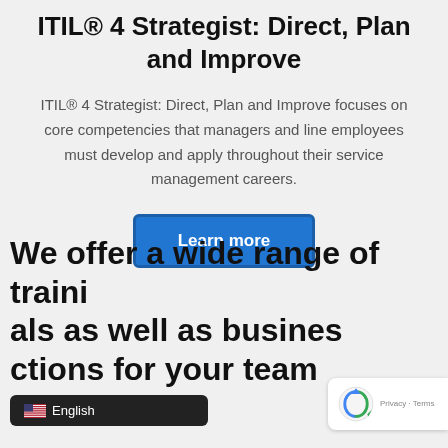ITIL® 4 Strategist: Direct, Plan and Improve
ITIL® 4 Strategist: Direct, Plan and Improve focuses on core competencies that managers and line employees must develop and apply throughout their service management careers.
Learn more
We offer a wide range of training solutions for individuals as well as business solutions for your team